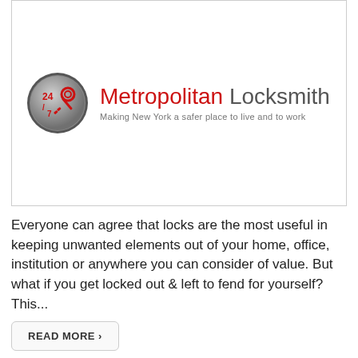[Figure (logo): Metropolitan Locksmith logo: circular 24/7 badge with key icon on the left, and company name 'Metropolitan Locksmith' in red and grey with tagline 'Making New York a safer place to live and to work']
Everyone can agree that locks are the most useful in keeping unwanted elements out of your home, office, institution or anywhere you can consider of value. But what if you get locked out & left to fend for yourself? This...
READ MORE ›